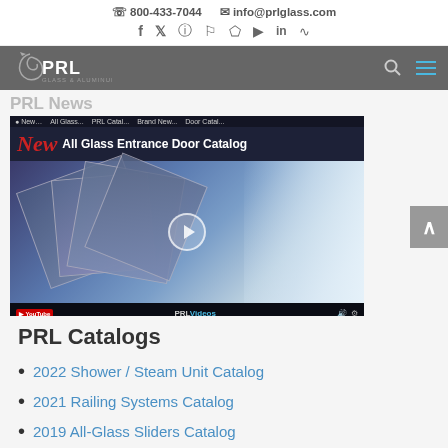800-433-7044  info@prlglass.com
[Figure (logo): PRL Glass & Aluminum logo in white on dark gray navigation bar]
PRL News
[Figure (screenshot): Video thumbnail showing 'New All Glass Entrance Door Catalog' with PRL catalogs fanned out, YouTube-style video player]
PRL Catalogs
2022 Shower / Steam Unit Catalog
2021 Railing Systems Catalog
2019 All-Glass Sliders Catalog